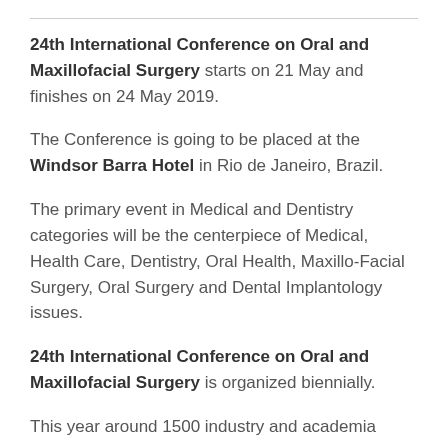24th International Conference on Oral and Maxillofacial Surgery starts on 21 May and finishes on 24 May 2019.
The Conference is going to be placed at the Windsor Barra Hotel in Rio de Janeiro, Brazil.
The primary event in Medical and Dentistry categories will be the centerpiece of Medical, Health Care, Dentistry, Oral Health, Maxillo-Facial Surgery, Oral Surgery and Dental Implantology issues.
24th International Conference on Oral and Maxillofacial Surgery is organized biennially.
This year around 1500 industry and academia